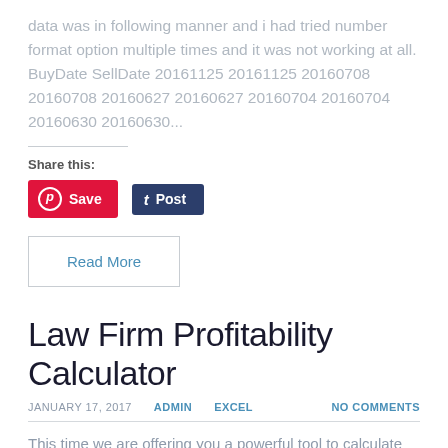data was in following manner and i had tried number format option multiple times and it was not working at all. BuyDate SellDate 20161125 20161125 20160708 20160708 20160627 20160627 20160704 20160704 20160630 20160630...
Share this:
[Figure (other): Pinterest Save button (red) and Tumblr Post button (dark navy)]
Read More
Law Firm Profitability Calculator
JANUARY 17, 2017   ADMIN   EXCEL   NO COMMENTS
This time we are offering you a powerful tool to calculate profitability of your law firm.This template allows user to